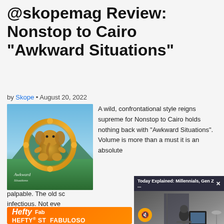@skopemag Review: Nonstop to Cairo "Awkward Situations"
by Skope • August 20, 2022
[Figure (illustration): Album cover for Awkward Situations by Nonstop to Cairo, showing a meditating elephant within an ornate golden ring against a blue sky and green landscape background. Text 'Awkward Situations' appears at the bottom.]
A wild, confrontational style reigns supreme for Nonstop to Cairo holds nothing back with “Awkward Situations”. Volume is more than a must it is an absolute
[Figure (screenshot): Video overlay widget showing 'Today Explained: Millennials, Gen Z ...' with a mute button and an office scene thumbnail showing a person working at a computer desk.]
palpable. The old sc
infectious. Not eve
[Figure (illustration): Hefty advertisement showing the Hefty logo with Fabuloso branding in orange, with text 'HEFTY STRONG FABULOSO']